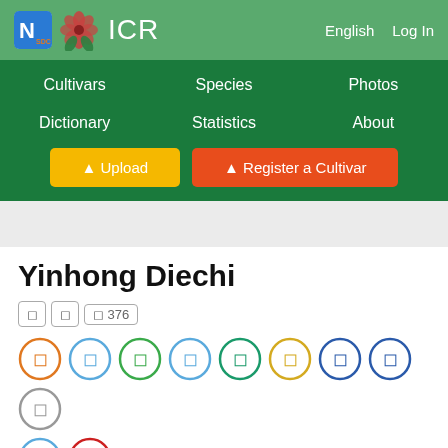ICR  English  Log In
Cultivars
Species
Photos
Dictionary
Statistics
About
Upload
Register a Cultivar
Yinhong Diechi
376